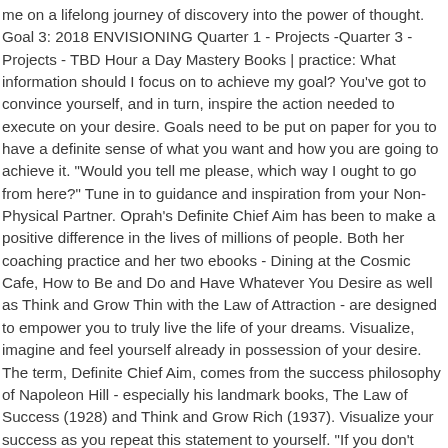me on a lifelong journey of discovery into the power of thought. Goal 3: 2018 ENVISIONING Quarter 1 - Projects -Quarter 3 - Projects - TBD Hour a Day Mastery Books | practice: What information should I focus on to achieve my goal? You've got to convince yourself, and in turn, inspire the action needed to execute on your desire. Goals need to be put on paper for you to have a definite sense of what you want and how you are going to achieve it. "Would you tell me please, which way I ought to go from here?" Tune in to guidance and inspiration from your Non-Physical Partner. Oprah's Definite Chief Aim has been to make a positive difference in the lives of millions of people. Both her coaching practice and her two ebooks - Dining at the Cosmic Cafe, How to Be and Do and Have Whatever You Desire as well as Think and Grow Thin with the Law of Attraction - are designed to empower you to truly live the life of your dreams. Visualize, imagine and feel yourself already in possession of your desire. The term, Definite Chief Aim, comes from the success philosophy of Napoleon Hill - especially his landmark books, The Law of Success (1928) and Think and Grow Rich (1937). Visualize your success as you repeat this statement to yourself. "If you don't have a dream, how you gonna have a dream come true?" : I have clearly written down a description of my DEFINITE CHIEF AIM in life, and I will never